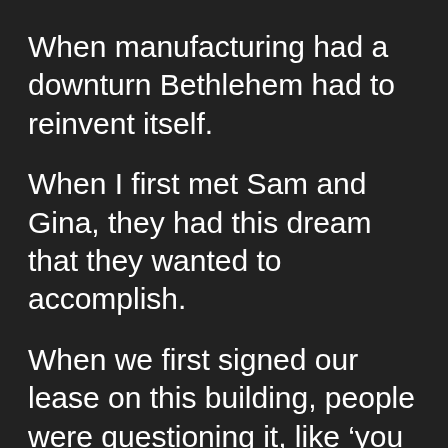When manufacturing had a downturn Bethlehem had to reinvent itself.
When I first met Sam and Gina, they had this dream that they wanted to accomplish.
When we first signed our lease on this building, people were questioning it, like 'you sure you want to open a brewery